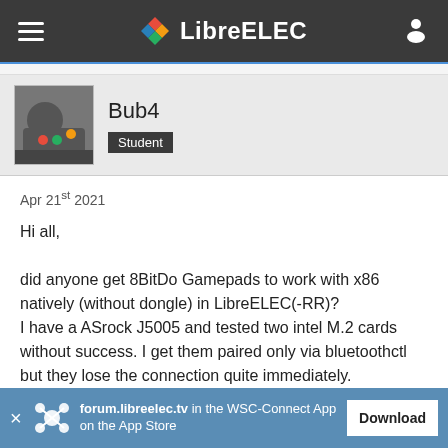LibreELEC
[Figure (screenshot): User profile showing avatar photo, username Bub4, and Student badge]
Apr 21st 2021
Hi all,

did anyone get 8BitDo Gamepads to work with x86 natively (without dongle) in LibreELEC(-RR)?
I have a ASrock J5005 and tested two intel M.2 cards without success. I get them paired only via bluetoothctl but they lose the connection quite immediately.
[Figure (screenshot): Terminal screenshot showing bluetoothctl commands: pairable on, Changing pairable on succeeded, scan on, Discovery started, [CHG] Controller E0:D4:64:02:F0:4D Discovering: yes]
forum.libreelec.tv in the WSC-Connect App on the App Store  Download